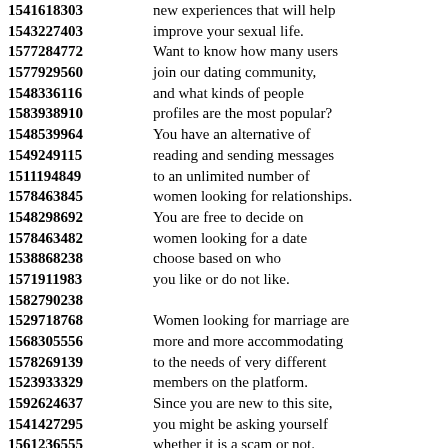1541618303 new experiences that will help
1543227403 improve your sexual life.
1577284772 Want to know how many users
1577929560 join our dating community,
1548336116 and what kinds of people
1583938910 profiles are the most popular?
1548539964 You have an alternative of
1549249115 reading and sending messages
1511194849 to an unlimited number of
1578463845 women looking for relationships.
1548298692 You are free to decide on
1578463482 women looking for a date
1538868238 choose based on who
1571911983 you like or do not like.
1582790238
1529718768 Women looking for marriage are
1568305556 more and more accommodating
1578269139 to the needs of very different
1523933329 members on the platform.
1592624637 Since you are new to this site,
1541427295 you might be asking yourself
1561236555 whether it is a scam or not.
1525841420 The platform enables users
1569370564 and women looking for love
1512145844 to see who's online now